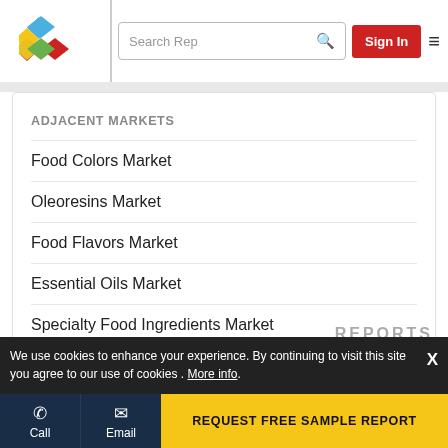[Figure (logo): Colorful diamond/rhombus logo with blue, red, yellow, and green diamonds]
Search Rep  Sign In
ADJACENT MARKETS
Food Colors Market
Oleoresins Market
Food Flavors Market
Essential Oils Market
Specialty Food Ingredients Market
We use cookies to enhance your experience. By continuing to visit this site you agree to our use of cookies . More info.
Call  Email  REQUEST FREE SAMPLE REPORT